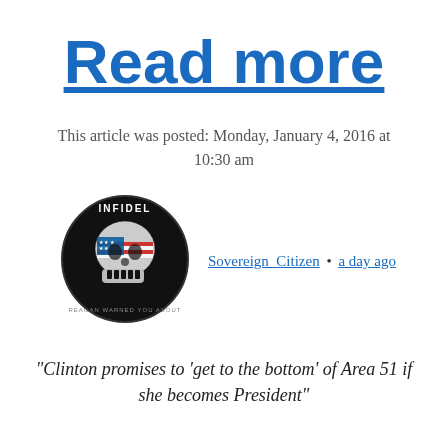Read more
This article was posted: Monday, January 4, 2016 at 10:30 am
[Figure (logo): Circular logo with skull wearing American flag design, text 'INFIDEL' at top and 'REAGAN WARNED YOU ABOUT' at bottom on black background]
Sovereign_Citizen • a day ago
“Clinton promises to ‘get to the bottom’ of Area 51 if she becomes President”